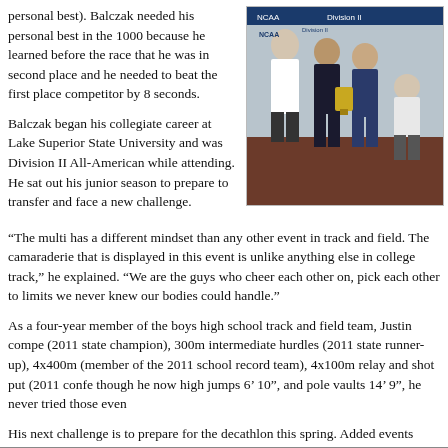personal best). Balczak needed his personal best in the 1000 because he learned before the race that he was in second place and he needed to beat the first place competitor by 8 seconds.
[Figure (photo): Group photo of track and field athletes posing together at what appears to be an NCAA championship event, holding trophies/plaques]
Balczak began his collegiate career at Lake Superior State University and was Division II All-American while attending. He sat out his junior season to prepare to transfer and face a new challenge.
“The multi has a different mindset than any other event in track and field. The camaraderie that is displayed in this event is unlike anything else in college track,” he explained. “We are the guys who cheer each other on, pick each other to limits we never knew our bodies could handle.”
As a four-year member of the boys high school track and field team, Justin compe (2011 state champion), 300m intermediate hurdles (2011 state runner-up), 4x400m (member of the 2011 school record team), 4x100m relay and shot put (2011 confe though he now high jumps 6’ 10”, and pole vaults 14’ 9”, he never tried those even
His next challenge is to prepare for the decathlon this spring. Added events includ dash.